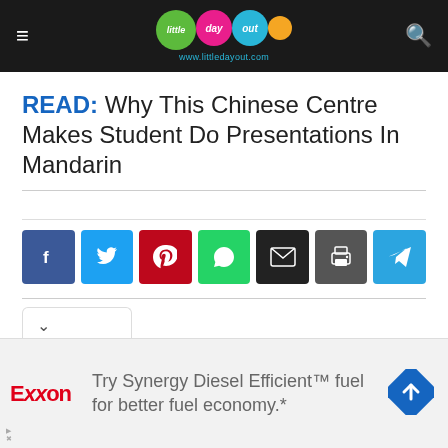little day out — www.littledayout.com
READ: Why This Chinese Centre Makes Student Do Presentations In Mandarin
[Figure (infographic): Row of social share buttons: Facebook (blue), Twitter (light blue), Pinterest (red), WhatsApp (green), Email (black), Print (dark grey), Telegram (blue)]
[Figure (infographic): Exxon advertisement banner: Try Synergy Diesel Efficient™ fuel for better fuel economy.*]